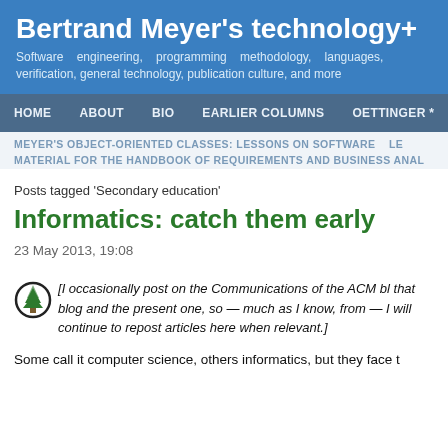Bertrand Meyer's technology+
Software engineering, programming methodology, languages, verification, general technology, publication culture, and more
HOME  ABOUT  BIO  EARLIER COLUMNS  OETTINGER *
MEYER'S OBJECT-ORIENTED CLASSES: LESSONS ON SOFTWARE  LE
MATERIAL FOR THE HANDBOOK OF REQUIREMENTS AND BUSINESS ANAL
Posts tagged 'Secondary education'
Informatics: catch them early
23 May 2013, 19:08
[I occasionally post on the Communications of the ACM bl that blog and the present one, so — much as I know, from — I will continue to repost articles here when relevant.]
Some call it computer science, others informatics, but they face t